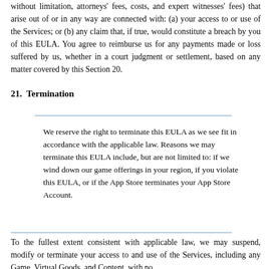without limitation, attorneys' fees, costs, and expert witnesses' fees) that arise out of or in any way are connected with: (a) your access to or use of the Services; or (b) any claim that, if true, would constitute a breach by you of this EULA. You agree to reimburse us for any payments made or loss suffered by us, whether in a court judgment or settlement, based on any matter covered by this Section 20.
21.  Termination
We reserve the right to terminate this EULA as we see fit in accordance with the applicable law. Reasons we may terminate this EULA include, but are not limited to: if we wind down our game offerings in your region, if you violate this EULA, or if the App Store terminates your App Store Account.
To the fullest extent consistent with applicable law, we may suspend, modify or terminate your access to and use of the Services, including any Game, Virtual Goods, and Content, with no